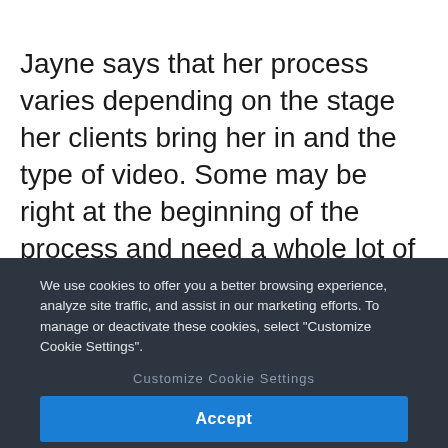Jayne says that her process varies depending on the stage her clients bring her in and the type of video. Some may be right at the beginning of the process and need a whole lot of training material. Others may bring her in during the later stages for more editing than training.
We use cookies to offer you a better browsing experience, analyze site traffic, and assist in our marketing efforts. To manage or deactivate these cookies, select "Customize Cookie Settings".
Customize Cookie Settings
Accept